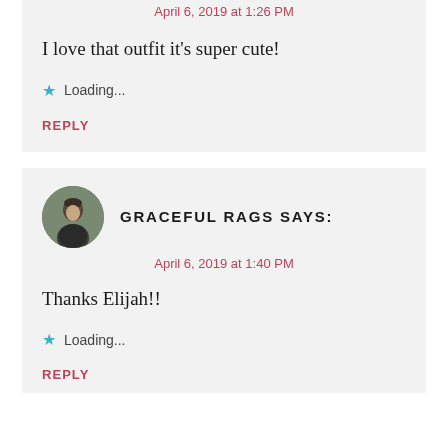April 6, 2019 at 1:26 PM
I love that outfit it's super cute!
★ Loading...
REPLY
GRACEFUL RAGS SAYS:
April 6, 2019 at 1:40 PM
Thanks Elijah!!
★ Loading...
REPLY